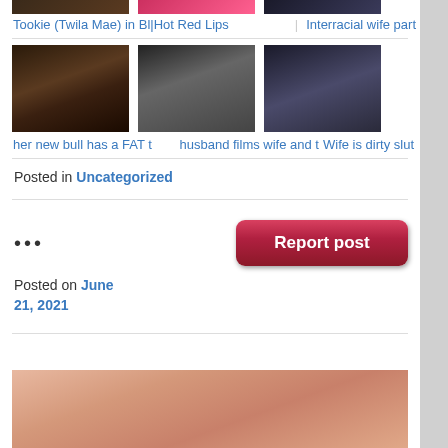[Figure (photo): Row of three video thumbnails partially visible at top]
Tookie (Twila Mae) in Bl|Hot Red Lips    Interracial wife part
[Figure (photo): Row of three video thumbnails showing adult content]
her new bull has a FAT thusband films wife and tWife is dirty slut
Posted in Uncategorized
...
[Figure (screenshot): Report post button - red/pink rounded rectangle]
Posted on June 21, 2021
[Figure (photo): Partial photo at bottom of page, skin-tone close-up]